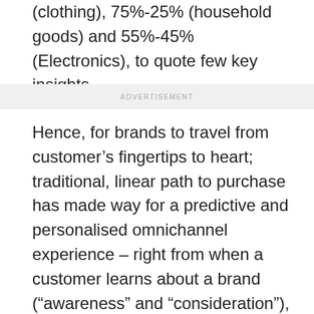(clothing), 75%-25% (household goods) and 55%-45% (Electronics), to quote few key insights.
ADVERTISEMENT
Hence, for brands to travel from customer’s fingertips to heart; traditional, linear path to purchase has made way for a predictive and personalised omnichannel experience – right from when a customer learns about a brand (“awareness” and “consideration”), to the actual purchase (“purchasing” and “fulfilment”), use and service thereafter (“advocacy”). Brands are leveraging ‘digital mediums’ to converge physical and virtual worlds, which is generating unprecedented amounts of data at touchpoints. Organisations that have utilised this trail of data successfully have